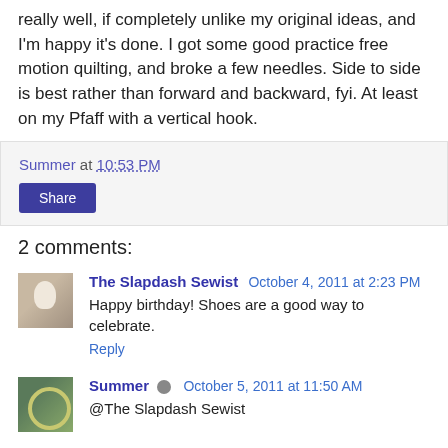really well, if completely unlike my original ideas, and I'm happy it's done.  I got some good practice free motion quilting, and broke a few needles.  Side to side is best rather than forward and backward, fyi.  At least on my Pfaff with a vertical hook.
Summer at 10:53 PM
Share
2 comments:
The Slapdash Sewist October 4, 2011 at 2:23 PM
Happy birthday! Shoes are a good way to celebrate.
Reply
Summer October 5, 2011 at 11:50 AM
@The Slapdash Sewist